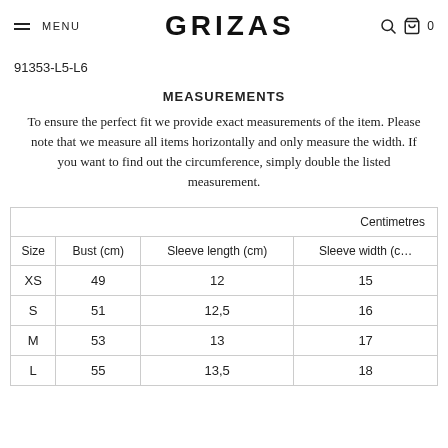MENU | GRIZAS | 0
91353-L5-L6
MEASUREMENTS
To ensure the perfect fit we provide exact measurements of the item. Please note that we measure all items horizontally and only measure the width. If you want to find out the circumference, simply double the listed measurement.
| Size | Bust (cm) | Sleeve length (cm) | Sleeve width (cm) |
| --- | --- | --- | --- |
| XS | 49 | 12 | 15 |
| S | 51 | 12,5 | 16 |
| M | 53 | 13 | 17 |
| L | 55 | 13,5 | 18 |